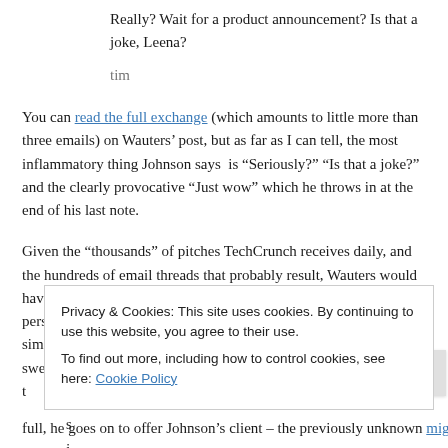Really? Wait for a product announcement? Is that a joke, Leena?
tim
You can read the full exchange (which amounts to little more than three emails) on Wauters' post, but as far as I can tell, the most inflammatory thing Johnson says  is “Seriously?” “Is that a joke?” and the clearly provocative “Just wow” which he throws in at the end of his last note.
Given the “thousands” of pitches TechCrunch receives daily, and the hundreds of email threads that probably result, Wauters would have us believe that Johnson’s comments are indicative of a PR person who has gone “off the deep end.” Or maybe Wauters was simply trying to impress Rao, who he describes as “extremely sweet and mild-mannered”, by t...
Privacy & Cookies: This site uses cookies. By continuing to use this website, you agree to their use.
To find out more, including how to control cookies, see here: Cookie Policy
Close and accept
full, he goes on to offer Johnson’s client – the previously unknown mig33